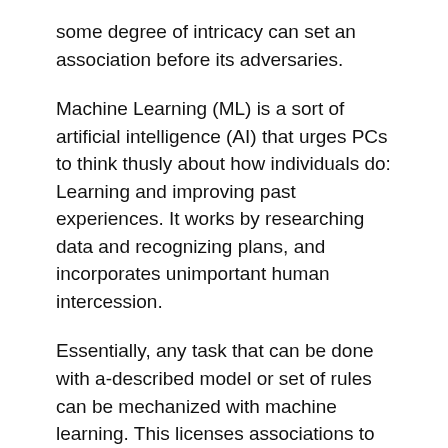some degree of intricacy can set an association before its adversaries.
Machine Learning (ML) is a sort of artificial intelligence (AI) that urges PCs to think thusly about how individuals do: Learning and improving past experiences. It works by researching data and recognizing plans, and incorporates unimportant human intercession.
Essentially, any task that can be done with a-described model or set of rules can be mechanized with machine learning. This licenses associations to change estimates that were in advance a choice solely for individuals to perform—think responding to